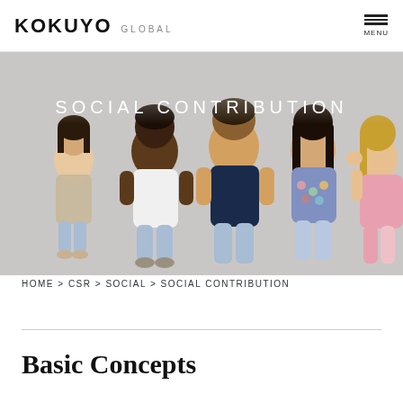KOKUYO GLOBAL — MENU
[Figure (photo): Five children of diverse backgrounds sitting together and smiling/laughing against a grey background, with the text 'SOCIAL CONTRIBUTION' overlaid in white letters.]
HOME > CSR > SOCIAL > SOCIAL CONTRIBUTION
Basic Concepts